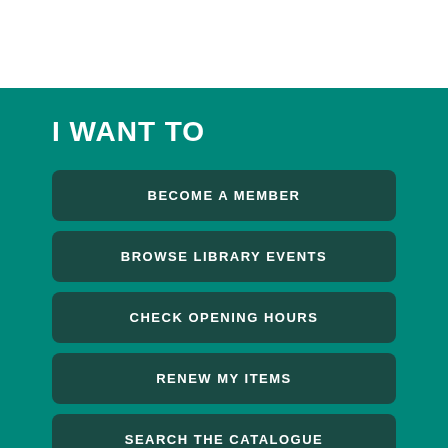I WANT TO
BECOME A MEMBER
BROWSE LIBRARY EVENTS
CHECK OPENING HOURS
RENEW MY ITEMS
SEARCH THE CATALOGUE